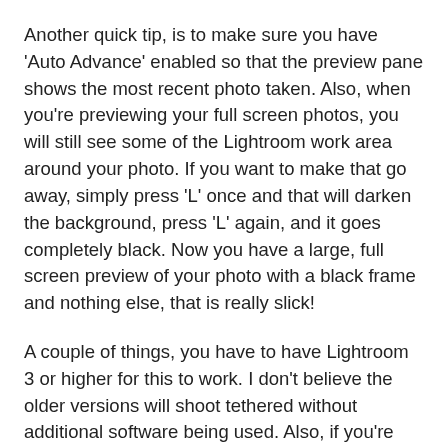Another quick tip, is to make sure you have 'Auto Advance' enabled so that the preview pane shows the most recent photo taken.  Also, when you're previewing your full screen photos, you will still see some of the Lightroom work area around your photo.  If you want to make that go away, simply press 'L' once and that will darken the background, press 'L' again, and it goes completely black.  Now you have a large, full screen preview of your photo with a black frame and nothing else, that is really slick!
A couple of things, you have to have Lightroom 3 or higher for this to work.  I don't believe the older versions will shoot tethered without additional software being used.  Also, if you're going to be doing this a lot, make sure that the computer you are tethering to has a calibrated display.  This is important because if you're going to be editing, you want to make sure you have the most accurate view of your photo as possible, so that when you're finished editing, your photos will look their best on any monitor.
If you want to learn more about shooting tethered with